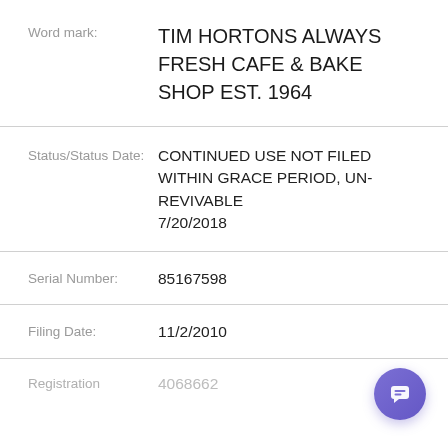Word mark: TIM HORTONS ALWAYS FRESH CAFE & BAKE SHOP EST. 1964
Status/Status Date: CONTINUED USE NOT FILED WITHIN GRACE PERIOD, UN-REVIVABLE 7/20/2018
Serial Number: 85167598
Filing Date: 11/2/2010
Registration 4068662